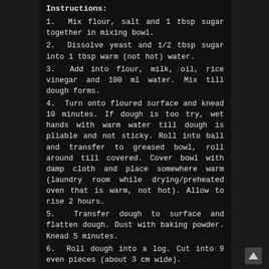Instructions:
1.  Mix flour, salt and 1 tbsp sugar together in mixing bowl.
2.  Dissolve yeast and 1/2 tbsp sugar into 1 tbsp warm (not hot) water.
3.  Add into flour, milk, oil, rice vinegar and 100 ml water. Mix till dough forms.
4.  Turn onto floured surface and knead 10 minutes. If dough is too try, wet hands with warm water till dough is pliable and not sticky. Roll into ball and transfer to greased bowl, roll around till covered. Cover bowl with damp cloth and place somewhere warm (laundry room while drying/preheated oven that is warm, not hot). Allow to rise 2 hours.
5.  Transfer dough to surface and flatten dough. Dust with baking powder. Knead 5 minutes.
6.  Roll dough into a log. Cut into 9 even pieces (about 3 cm wide).
7.  Roll balls into ovals at about 3 mm thick. Brush with oil. Dip chopstick in oil, place chopstick onto oval and fold over.
8.  Cut 9 squares of parchment paper and place dough on each. Transfer to a flat sheet. Cover with greased plastic wrap. Allow to rise somewhere warm for 1.5 hours.